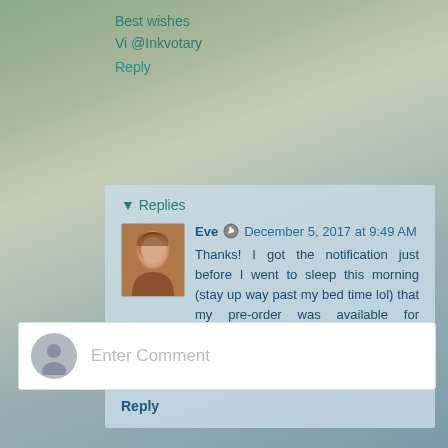Best wishes
Vi @Inkvotary
Reply
▾ Replies
Eve ✏ December 5, 2017 at 9:49 AM
Thanks! I got the notification just before I went to sleep this morning (stay up way past my bed time lol) that my pre-order was available for download. Took all of my will power not to start it right then, sleep won out lol.
Reply
Enter Comment